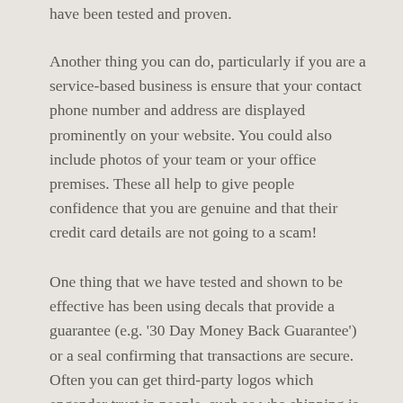have been tested and proven.
Another thing you can do, particularly if you are a service-based business is ensure that your contact phone number and address are displayed prominently on your website. You could also include photos of your team or your office premises. These all help to give people confidence that you are genuine and that their credit card details are not going to a scam!
One thing that we have tested and shown to be effective has been using decals that provide a guarantee (e.g. '30 Day Money Back Guarantee') or a seal confirming that transactions are secure. Often you can get third-party logos which engender trust in people, such as who shipping is done through or where you have been featured (e.g.